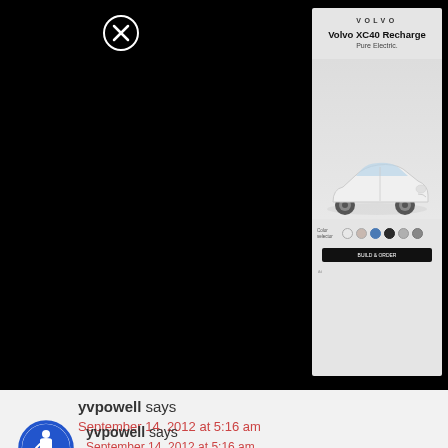[Figure (screenshot): Volvo XC40 Recharge advertisement overlay on black background. Ad shows Volvo logo, 'Volvo XC40 Recharge', 'Pure Electric.' text, color selector circles, a white SUV car image, and a CTA button. A close (X) button appears top-left of the black area.]
[Figure (logo): Blue circular accessibility icon (wheelchair figure in circle) floating on the left side]
yvpowell says
September 14, 2012 at 5:16 am
I would bake banana bread in the loaf pan or maybe banana muffins in the cupcake holders or maybe banana bread cake in the cake